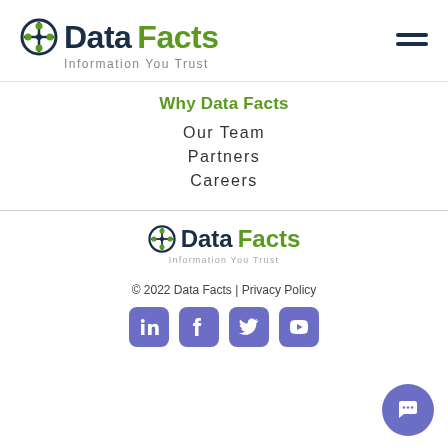[Figure (logo): Data Facts logo with icon, 'Data Facts' text and 'Information You Trust' tagline, plus hamburger menu icon]
Why Data Facts
Our Team
Partners
Careers
[Figure (logo): Data Facts footer logo with icon, 'Data Facts' text and 'Information You Trust' tagline]
© 2022 Data Facts | Privacy Policy
[Figure (other): Social media icons: LinkedIn, Facebook, Twitter, YouTube — purple rounded square icons. Also a purple circular chat bubble button in bottom right.]